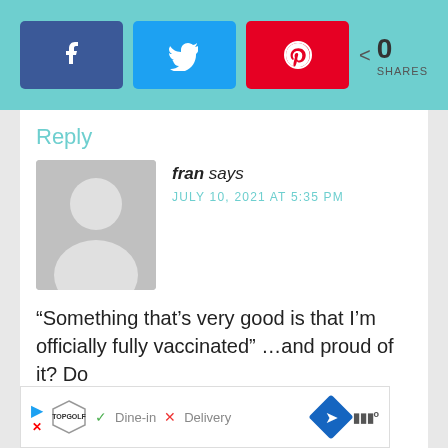[Figure (infographic): Social share bar with Facebook (blue), Twitter (light blue), Pinterest (red) buttons and share count showing 0 SHARES]
Reply
[Figure (photo): Default grey avatar silhouette placeholder image]
fran says
JULY 10, 2021 AT 5:35 PM
“Something that’s very good is that I’m officially fully vaccinated” …and proud of it? Do
[Figure (infographic): Ad bar at bottom showing Topgolf logo, Dine-in with checkmark, Delivery with X mark, navigation diamond icon, Waze icon]